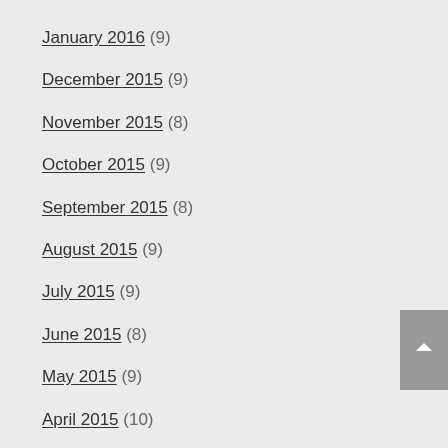January 2016 (9)
December 2015 (9)
November 2015 (8)
October 2015 (9)
September 2015 (8)
August 2015 (9)
July 2015 (9)
June 2015 (8)
May 2015 (9)
April 2015 (10)